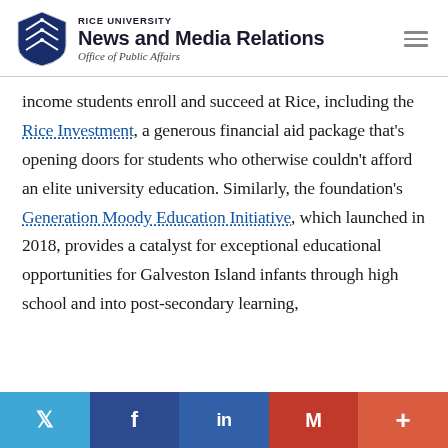RICE UNIVERSITY News and Media Relations Office of Public Affairs
income students enroll and succeed at Rice, including the Rice Investment, a generous financial aid package that’s opening doors for students who otherwise couldn’t afford an elite university education. Similarly, the foundation’s Generation Moody Education Initiative, which launched in 2018, provides a catalyst for exceptional educational opportunities for Galveston Island infants through high school and into post-secondary learning,